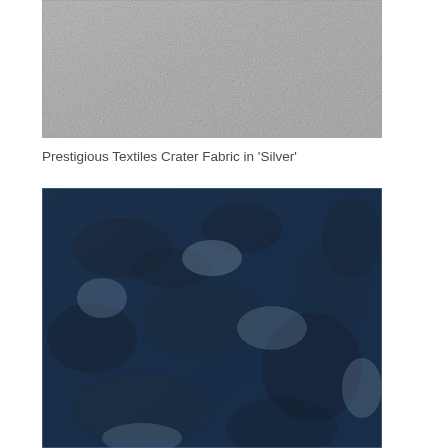[Figure (photo): Close-up photograph of a plain silver/grey woven fabric textile with a smooth, fine texture]
Prestigious Textiles Crater Fabric in 'Silver'
[Figure (photo): Close-up photograph of a blue velvet crushed/distressed fabric with dark navy mottled pattern on a light blue background, showing a crater-like texture]